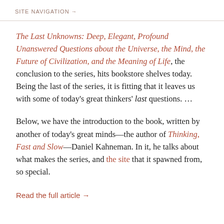SITE NAVIGATION →
The Last Unknowns: Deep, Elegant, Profound Unanswered Questions about the Universe, the Mind, the Future of Civilization, and the Meaning of Life, the conclusion to the series, hits bookstore shelves today. Being the last of the series, it is fitting that it leaves us with some of today's great thinkers' last questions. …
Below, we have the introduction to the book, written by another of today's great minds—the author of Thinking, Fast and Slow—Daniel Kahneman. In it, he talks about what makes the series, and the site that it spawned from, so special.
Read the full article →